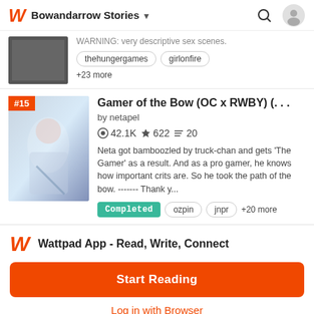Bowandarrow Stories
WARNING: very descriptive sex scenes.
thehungergames
girlonfire
+23 more
Gamer of the Bow (OC x RWBY) (...
by netapel
42.1K 622 20
Neta got bamboozled by truck-chan and gets 'The Gamer' as a result. And as a pro gamer, he knows how important crits are. So he took the path of the bow. ------- Thank y...
Completed
ozpin
jnpr
+20 more
Wattpad App - Read, Write, Connect
Start Reading
Log in with Browser